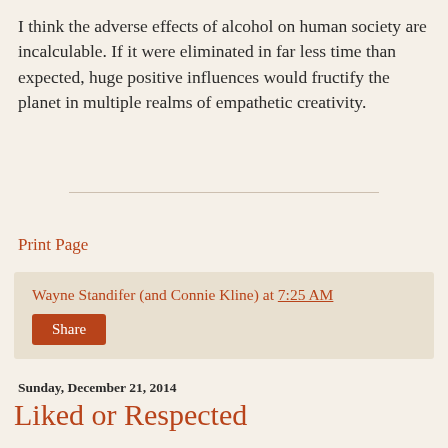I think the adverse effects of alcohol on human society are incalculable. If it were eliminated in far less time than expected, huge positive influences would fructify the planet in multiple realms of empathetic creativity.
Print Page
Wayne Standifer (and Connie Kline) at 7:25 AM
Share
Sunday, December 21, 2014
Liked or Respected
Is it more important to be liked or respected? ("65 Deep Philosophical Questions" by Operation-Meditation: retrieved from:
http://operationmeditation.com/discover/65-deep-philosophical-questions/)